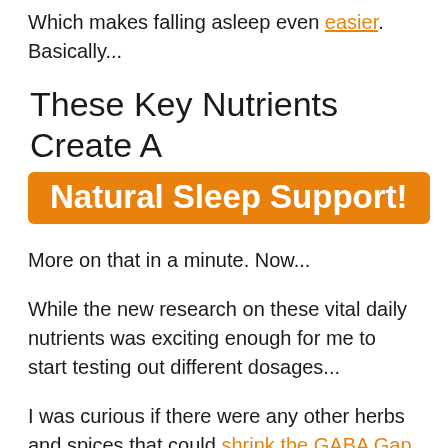Which makes falling asleep even easier. Basically...
These Key Nutrients Create A Natural Sleep Support!
More on that in a minute. Now...
While the new research on these vital daily nutrients was exciting enough for me to start testing out different dosages...
I was curious if there were any other herbs and spices that could shrink the GABA Gap even more and and put me in a positive